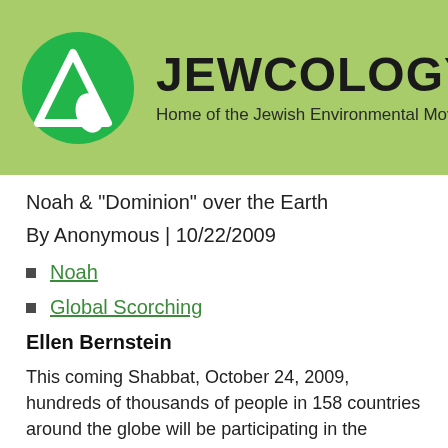JEWCOLOGY.ORG — Home of the Jewish Environmental Movement
Noah & "Dominion" over the Earth
By Anonymous | 10/22/2009
Noah
Global Scorching
Ellen Bernstein
This coming Shabbat, October 24, 2009, hundreds of thousands of people in 158 countries around the globe will be participating in the International Day of Climate Action. They will try to convince world leaders to enact policies to help bring atmospheric concentrations of CO2 down to 350 parts per million, the figure that...